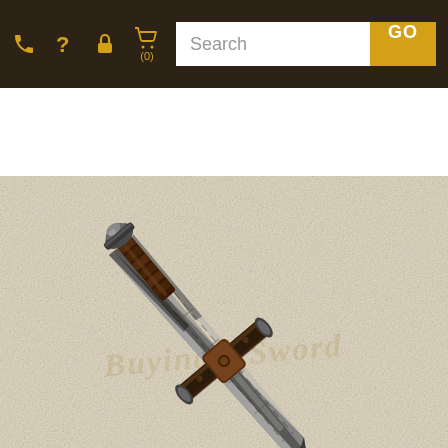Navigation bar with phone, help, lock, cart icons and Search GO button
[Figure (photo): A decorative medieval/fantasy sword with an ornate cross-guard, patterned blade with engravings, and detailed pommel, displayed diagonally against a light beige/cream textured background. The sword appears to be in a scabbard or has a dual-tone blade. A watermark reading 'Buying a Sword' is visible in the background.]